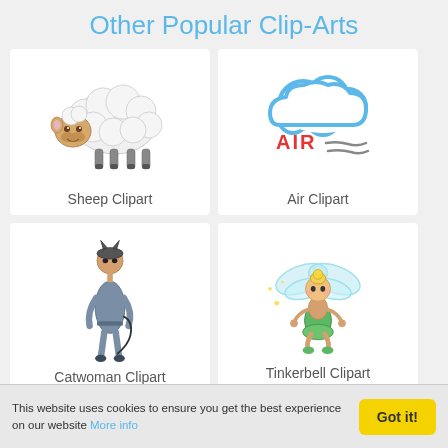Other Popular Clip-Arts
[Figure (illustration): Sheep clipart illustration]
Sheep Clipart
[Figure (illustration): Air clipart with cloud and AIR text with wind lines]
Air Clipart
[Figure (illustration): Catwoman clipart illustration]
Catwoman Clipart
[Figure (illustration): Tinkerbell clipart illustration]
Tinkerbell Clipart
This website uses cookies to ensure you get the best experience on our website More info
Got it!